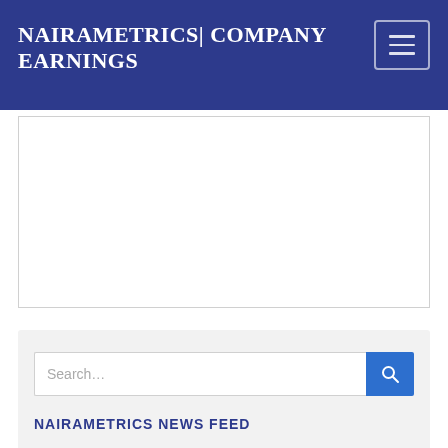NAIRAMETRICS| COMPANY EARNINGS
[Figure (other): Advertisement placeholder box with border]
Search...
NAIRAMETRICS NEWS FEED